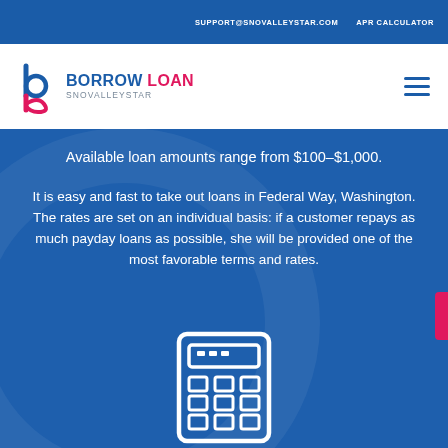SUPPORT@SNOVALLEYSTAR.COM   APR CALCULATOR
[Figure (logo): Borrow Loan SnoValleyStar logo with stylized b/p icon in pink/navy and text BORROW LOAN SNOVALLEYSTAR]
Available loan amounts range from $100-$1,000.
It is easy and fast to take out loans in Federal Way, Washington. The rates are set on an individual basis: if a customer repays as much payday loans as possible, she will be provided one of the most favorable terms and rates.
[Figure (illustration): White outline calculator icon on blue background]